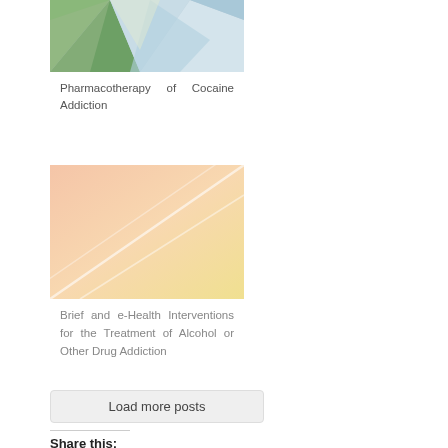[Figure (illustration): Abstract geometric image with green, blue, and gray polygon shapes on a light background — cover image for Pharmacotherapy of Cocaine Addiction]
Pharmacotherapy of Cocaine Addiction
[Figure (illustration): Abstract geometric image with peach/salmon and yellow gradient diagonal lines on a light orange background — cover image for Brief and e-Health Interventions for the Treatment of Alcohol or Other Drug Addiction]
Brief and e-Health Interventions for the Treatment of Alcohol or Other Drug Addiction
Load more posts
Share this: